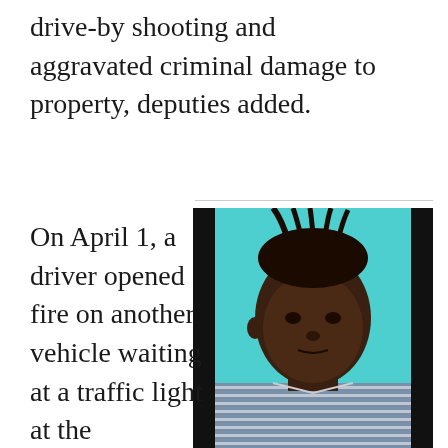drive-by shooting and aggravated criminal damage to property, deputies added.
[Figure (photo): Mugshot or official photo of a young Black male with dreadlocks pulled up, wearing a blue and white striped collared shirt, against a blue/teal background.]
On April 1, a driver opened fire on another vehicle waiting at a traffic light at the